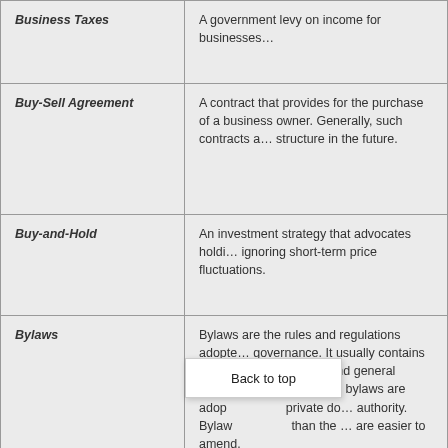| Term | Definition |
| --- | --- |
| Business Taxes | A government levy on income for businesses… |
| Buy-Sell Agreement | A contract that provides for the purchase of a business owner. Generally, such contracts a… structure in the future. |
| Buy-and-Hold | An investment strategy that advocates holdi… ignoring short-term price fluctuations. |
| Bylaws | Bylaws are the rules and regulations adopte… governance. It usually contains provisions re… officers and general corporate business. At t… bylaws are adop… private do… authority. Bylaw… than the … are easier to amend. |
| CAPS | A limit on how much the interest rate can ch… during the life of the mortgage, e.g., "2/6" e… life of loan. |